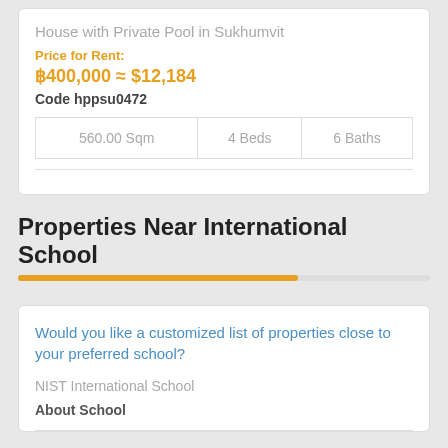House with Private Pool in Sukhumvit
Price for Rent:
฿400,000 ≈ $12,184
Code hppsu0472
| 560.00 Sqm | 4 Beds | 6 Baths |
Properties Near International School
Would you like a customized list of properties close to your preferred school?
NIST International School
About School